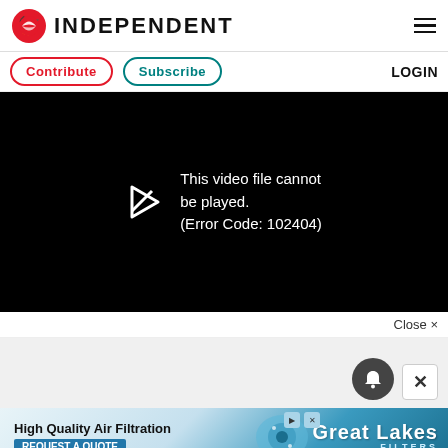INDEPENDENT
Contribute   Subscribe   LOGIN
[Figure (screenshot): Black video player area showing error message: This video file cannot be played. (Error Code: 102404)]
Close ×
[Figure (other): Notification bell icon and close X button on grey background]
[Figure (other): Advertisement banner for Great Lakes Filters - High Quality Air Filtration, Request A Quote]